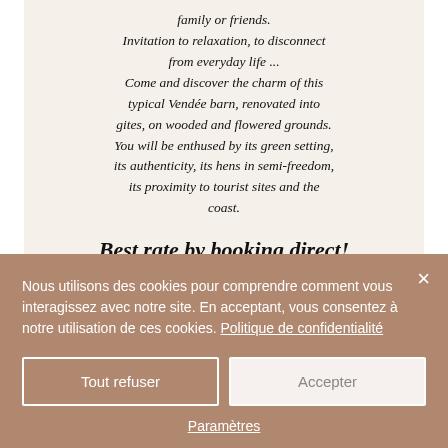family or friends. Invitation to relaxation, to disconnect from everyday life ... Come and discover the charm of this typical Vendée barn, renovated into gites, on wooded and flowered grounds. You will be enthused by its green setting, its authenticity, its hens in semi-freedom, its proximity to tourist sites and the coast.
Best rate by booking direct!
[Figure (photo): Blue sky with white clouds and a dark diagonal element (pole or mast) visible in the lower left]
Nous utilisons des cookies pour comprendre comment vous interagissez avec notre site. En acceptant, vous consentez à notre utilisation de ces cookies. Politique de confidentialité
Tout refuser
Accepter
Paramètres